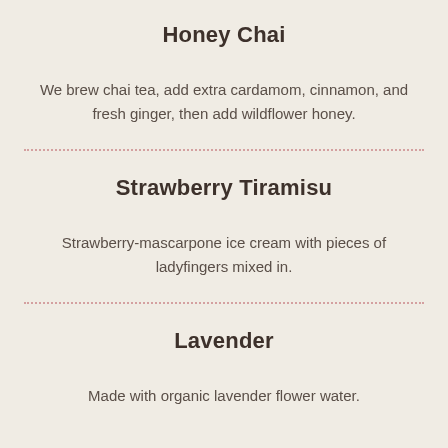Honey Chai
We brew chai tea, add extra cardamom, cinnamon, and fresh ginger, then add wildflower honey.
Strawberry Tiramisu
Strawberry-mascarpone ice cream with pieces of ladyfingers mixed in.
Lavender
Made with organic lavender flower water.